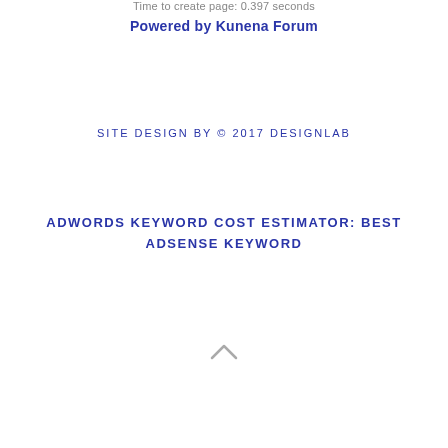Time to create page: 0.397 seconds
Powered by Kunena Forum
SITE DESIGN BY © 2017 DESIGNLAB
ADWORDS KEYWORD COST ESTIMATOR: BEST ADSENSE KEYWORD
[Figure (other): Up arrow / back to top chevron icon]